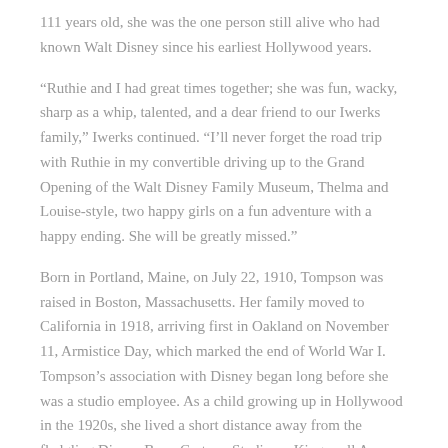111 years old, she was the one person still alive who had known Walt Disney since his earliest Hollywood years.
“Ruthie and I had great times together; she was fun, wacky, sharp as a whip, talented, and a dear friend to our Iwerks family,” Iwerks continued. “I’ll never forget the road trip with Ruthie in my convertible driving up to the Grand Opening of the Walt Disney Family Museum, Thelma and Louise-style, two happy girls on a fun adventure with a happy ending. She will be greatly missed.”
Born in Portland, Maine, on July 22, 1910, Tompson was raised in Boston, Massachusetts. Her family moved to California in 1918, arriving first in Oakland on November 11, Armistice Day, which marked the end of World War I. Tompson’s association with Disney began long before she was a studio employee. As a child growing up in Hollywood in the 1920s, she lived a short distance away from the fledgling Disney Bros. Cartoon Studio on Kingswell Avenue.